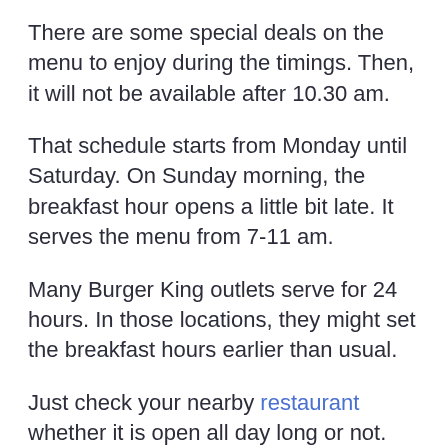There are some special deals on the menu to enjoy during the timings. Then, it will not be available after 10.30 am.
That schedule starts from Monday until Saturday. On Sunday morning, the breakfast hour opens a little bit late. It serves the menu from 7-11 am.
Many Burger King outlets serve for 24 hours. In those locations, they might set the breakfast hours earlier than usual.
Just check your nearby restaurant whether it is open all day long or not.
Burger King Breakfast Menu